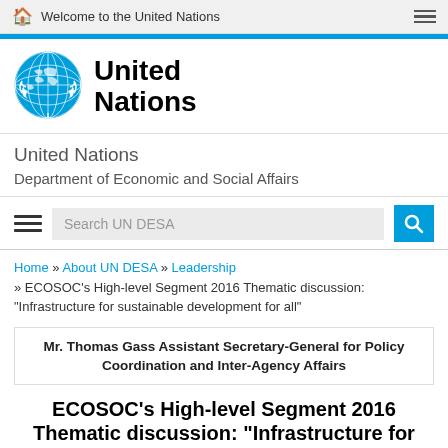Welcome to the United Nations
[Figure (logo): United Nations emblem logo in blue]
United Nations
Department of Economic and Social Affairs
Search UN DESA
Home » About UN DESA » Leadership » ECOSOC's High-level Segment 2016 Thematic discussion: "Infrastructure for sustainable development for all"
Mr. Thomas Gass Assistant Secretary-General for Policy Coordination and Inter-Agency Affairs
ECOSOC's High-level Segment 2016 Thematic discussion: "Infrastructure for sustainable development for all"